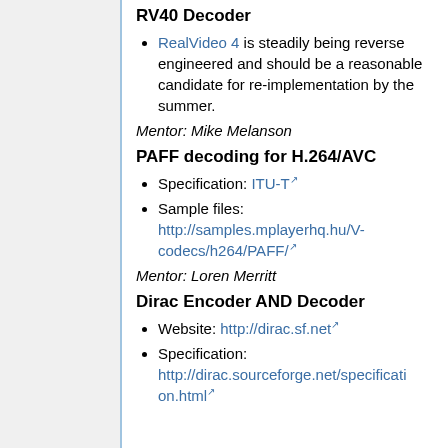RV40 Decoder
RealVideo 4 is steadily being reverse engineered and should be a reasonable candidate for re-implementation by the summer.
Mentor: Mike Melanson
PAFF decoding for H.264/AVC
Specification: ITU-T
Sample files: http://samples.mplayerhq.hu/V-codecs/h264/PAFF/
Mentor: Loren Merritt
Dirac Encoder AND Decoder
Website: http://dirac.sf.net
Specification: http://dirac.sourceforge.net/specification.html